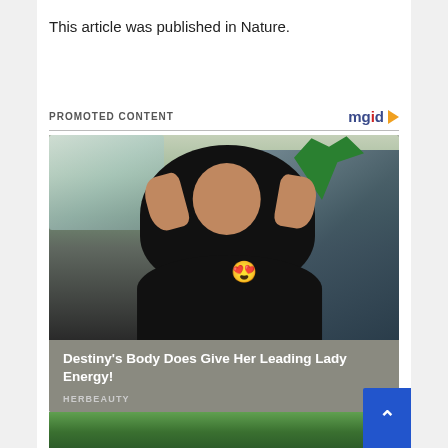This article was published in Nature.
PROMOTED CONTENT
[Figure (photo): Promoted content ad card showing a woman with curly hair standing near a car, with a heart-eyes emoji overlay. Caption reads: Destiny's Body Does Give Her Leading Lady Energy! Source: HERBEAUTY]
[Figure (photo): Bottom strip of a second ad card showing green foliage/outdoor scene]